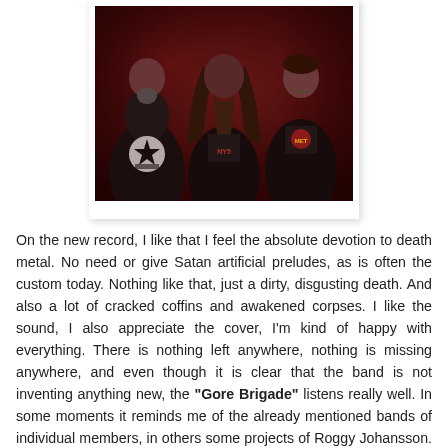[Figure (photo): Three metal band members posed against a dark red/maroon background. Left member is bald with a beard wearing a black hoodie with a star logo. Center member has very long hair and a long beard wearing a black shirt. Right member has shorter hair and a mustache wearing a black t-shirt with a graphic.]
On the new record, I like that I feel the absolute devotion to death metal. No need or give Satan artificial preludes, as is often the custom today. Nothing like that, just a dirty, disgusting death. And also a lot of cracked coffins and awakened corpses. I like the sound, I also appreciate the cover, I'm kind of happy with everything. There is nothing left anywhere, nothing is missing anywhere, and even though it is clear that the band is not inventing anything new, the "Gore Brigade" listens really well. In some moments it reminds me of the already mentioned bands of individual members, in others some projects of Roggy Johansson. Lots of cool and dark melodies, many freshly exhumed graves.